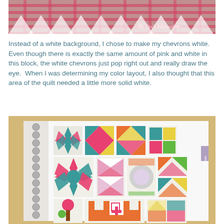[Figure (photo): Close-up photo of pink and white chevron quilt block with 'My Quilt Infatuation' watermark text in bottom right corner]
Instead of a white background, I chose to make my chevrons white.  Even though there is exactly the same amount of pink and white in this block, the white chevrons just pop right out and really draw the eye.  When I was determining my color layout, I also thought that this area of the quilt needed a little more solid white.
[Figure (photo): Photo of a spiral-bound planner or notebook open to a page showing colorful quilt block stickers or printed blocks in teal, pink, yellow, orange, green and other colors arranged in a grid layout, on a wooden surface]